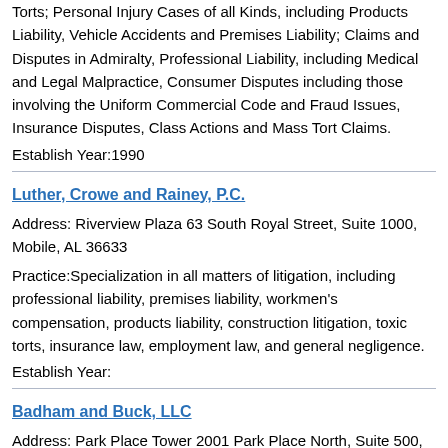Torts; Personal Injury Cases of all Kinds, including Products Liability, Vehicle Accidents and Premises Liability; Claims and Disputes in Admiralty, Professional Liability, including Medical and Legal Malpractice, Consumer Disputes including those involving the Uniform Commercial Code and Fraud Issues, Insurance Disputes, Class Actions and Mass Tort Claims.
Establish Year:1990
Luther, Crowe and Rainey, P.C.
Address: Riverview Plaza 63 South Royal Street, Suite 1000, Mobile, AL 36633
Practice:Specialization in all matters of litigation, including professional liability, premises liability, workmen's compensation, products liability, construction litigation, toxic torts, insurance law, employment law, and general negligence.
Establish Year:
Badham and Buck, LLC
Address: Park Place Tower 2001 Park Place North, Suite 500, Mobile, AL 35203
Practice:Class Actions; Personal Injury; Products Liability; Civil Litigation; Complex